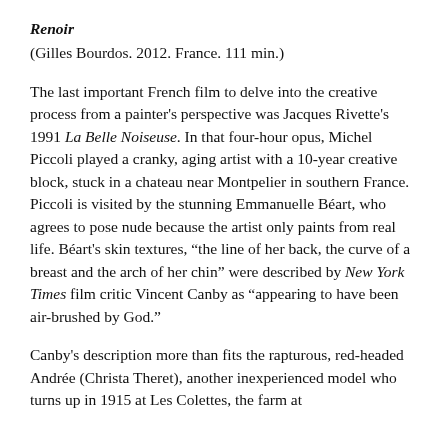Renoir
(Gilles Bourdos. 2012. France. 111 min.)
The last important French film to delve into the creative process from a painter's perspective was Jacques Rivette's 1991 La Belle Noiseuse. In that four-hour opus, Michel Piccoli played a cranky, aging artist with a 10-year creative block, stuck in a chateau near Montpelier in southern France. Piccoli is visited by the stunning Emmanuelle Béart, who agrees to pose nude because the artist only paints from real life. Béart's skin textures, “the line of her back, the curve of a breast and the arch of her chin” were described by New York Times film critic Vincent Canby as “appearing to have been air-brushed by God.”
Canby's description more than fits the rapturous, red-headed Andrée (Christa Theret), another inexperienced model who turns up in 1915 at Les Colettes, the farm at